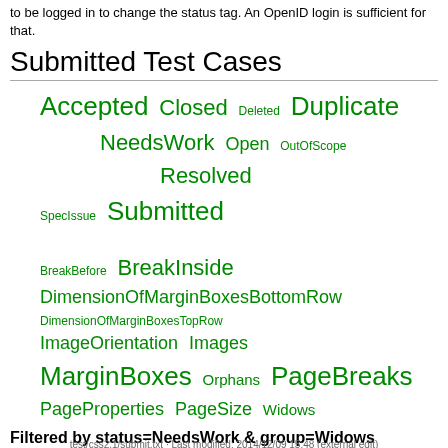to be logged in to change the status tag. An OpenID login is sufficient for that.
Submitted Test Cases
[Figure (infographic): Tag cloud of test case statuses and groups in green text with varying font sizes: Accepted, Closed, Deleted, Duplicate, NeedsWork, Open, OutOfScope, Resolved, SpecIssue, Submitted, BreakBefore, BreakInside, DimensionOfMarginBoxesBottomRow, DimensionOfMarginBoxesTopRow, ImageOrientation, Images, MarginBoxes, Orphans, PageBreaks, PageProperties, PageSize, Widows]
Filtered by status=NeedsWork & group=Widows
Show all (remove filter/sort)
| ↑ Submission | Status | Authors | Groups | URL |
| --- | --- | --- | --- | --- |
| Nothing found |  |  |  |  |
test/css2.1/submit.txt · Last modified: 2014/12/09 15:48 (external edit)